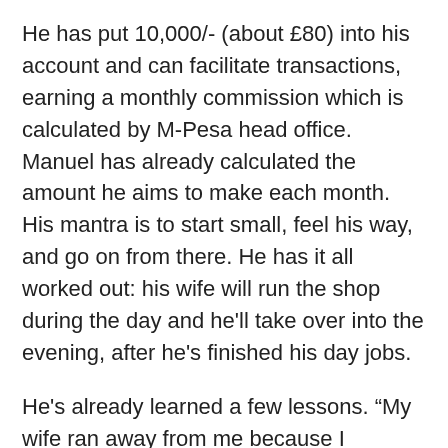He has put 10,000/- (about £80) into his account and can facilitate transactions, earning a monthly commission which is calculated by M-Pesa head office. Manuel has already calculated the amount he aims to make each month. His mantra is to start small, feel his way, and go on from there. He has it all worked out: his wife will run the shop during the day and he'll take over into the evening, after he's finished his day jobs.
He's already learned a few lessons. “My wife ran away from me because I couldn't support her. I had paid twenty cows for her. But she's come back to me after one year.”
He has already identified his next car, which will be cheaper to run, and he'll get a PSV licence for it. He's taught his wife to drive and will give her a car when she